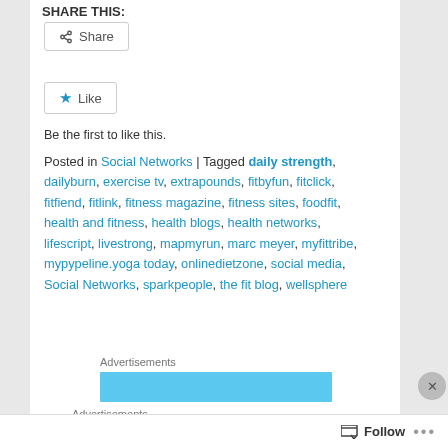SHARE THIS:
Share
Like
Be the first to like this.
Posted in Social Networks | Tagged daily strength, dailyburn, exercise tv, extrapounds, fitbyfun, fitclick, fitfiend, fitlink, fitness magazine, fitness sites, foodfit, health and fitness, health blogs, health networks, lifescript, livestrong, mapmyrun, marc meyer, myfittribe, mypypeline.yoga today, onlinedietzone, social media, Social Networks, sparkpeople, the fit blog, wellsphere
Advertisements
[Figure (other): Blue advertisement banner]
Advertisements
[Figure (other): DuckDuckGo advertisement: Search, browse, and email with more privacy. All in One Free App.]
Follow